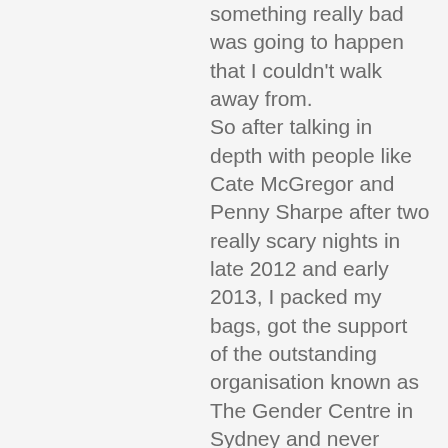something really bad was going to happen that I couldn't walk away from. So after talking in depth with people like Cate McGregor and Penny Sharpe after two really scary nights in late 2012 and early 2013, I packed my bags, got the support of the outstanding organisation known as The Gender Centre in Sydney and never